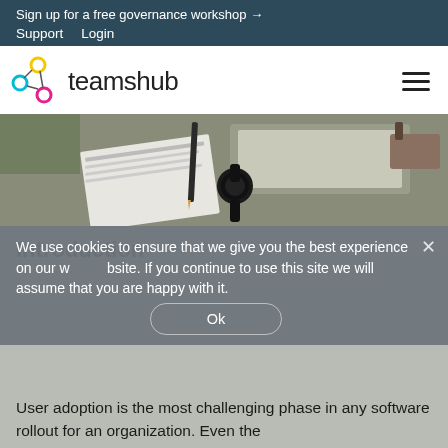Sign up for a free governance workshop →
Support   Login
[Figure (logo): Teamshub logo with colorful circular nodes icon and text 'teamshub']
[Figure (photo): Person working at desk with papers, laptop, and a watch visible from above]
We use cookies to ensure that we give you the best experience on our website. If you continue to use this site we will assume that you are happy with it.
Introduction
User adoption is the most challenging phase in any software rollout for an organization. Even the